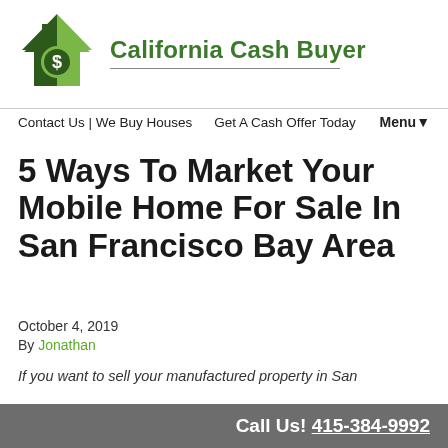[Figure (logo): California Cash Buyer logo: green house icon with dollar sign, next to bold green brand name text 'California Cash Buyer' with a horizontal rule below]
Contact Us | We Buy Houses   Get A Cash Offer Today   Menu▾
5 Ways To Market Your Mobile Home For Sale In San Francisco Bay Area
October 4, 2019
By Jonathan
If you want to sell your manufactured property in San
Call Us! 415-384-9992